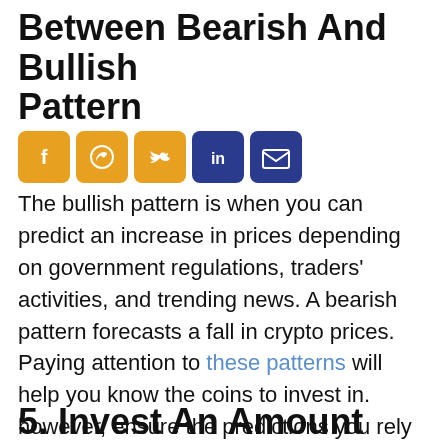Between Bearish And Bullish Pattern
[Figure (infographic): Row of social media sharing icons: Facebook, WhatsApp, Twitter, LinkedIn, Email]
The bullish pattern is when you can predict an increase in prices depending on government regulations, traders' activities, and trending news. A bearish pattern forecasts a fall in crypto prices. Paying attention to these patterns will help you know the coins to invest in. however, ensure the predictions you rely on come from trusted sources, most preferably, experts.
5. Invest An Amount You Aren't Scared To Lose